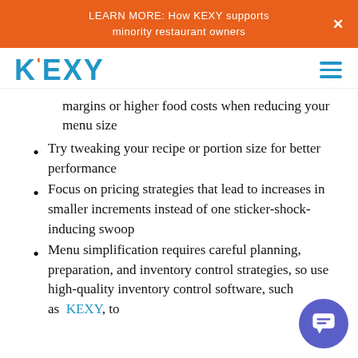LEARN MORE: How KEXY supports minority restaurant owners
[Figure (logo): KEXY logo in blue with orange accent mark]
margins or higher food costs when reducing your menu size
Try tweaking your recipe or portion size for better performance
Focus on pricing strategies that lead to increases in smaller increments instead of one sticker-shock-inducing swoop
Menu simplification requires careful planning, preparation, and inventory control strategies, so use high-quality inventory control software, such as KEXY, to